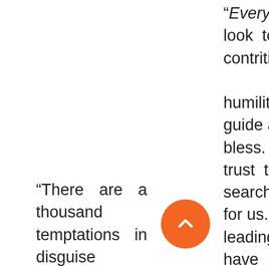“Every soul look to God contrition humility that He guide and lead bless. We mu… trust to othe… search the Scr… for us. Some … leading bre… have freq… taken their po… on the …g… and if God
“There are a thousand temptations in disguise prepared for those who have the light of truth: and the only safety